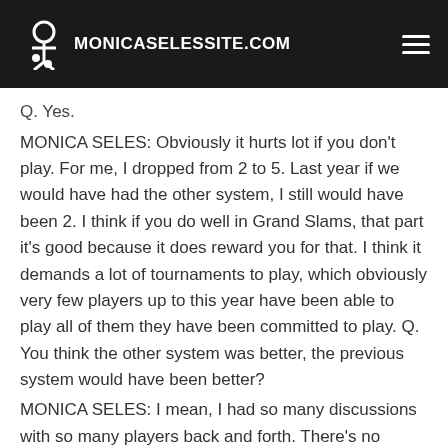MONICASELESSITE.COM
Q. Yes.
MONICA SELES: Obviously it hurts lot if you don't play. For me, I dropped from 2 to 5. Last year if we would have had the other system, I still would have been 2. I think if you do well in Grand Slams, that part it's good because it does reward you for that. I think it demands a lot of tournaments to play, which obviously very few players up to this year have been able to play all of them they have been committed to play. Q. You think the other system was better, the previous system would have been better?
MONICA SELES: I mean, I had so many discussions with so many players back and forth. There's no system we're going to find that's going to be perfect for everybody. I really thought the other system was more fair. Here if you lose in the first round, it doesn't penalize